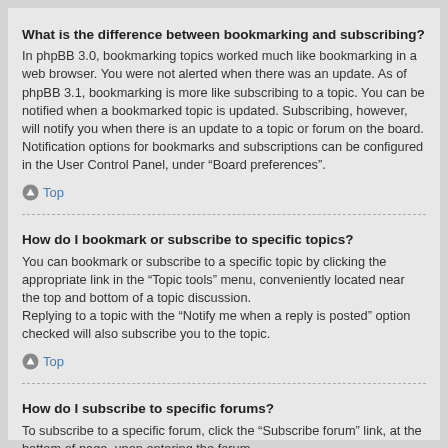What is the difference between bookmarking and subscribing?
In phpBB 3.0, bookmarking topics worked much like bookmarking in a web browser. You were not alerted when there was an update. As of phpBB 3.1, bookmarking is more like subscribing to a topic. You can be notified when a bookmarked topic is updated. Subscribing, however, will notify you when there is an update to a topic or forum on the board. Notification options for bookmarks and subscriptions can be configured in the User Control Panel, under “Board preferences”.
Top
How do I bookmark or subscribe to specific topics?
You can bookmark or subscribe to a specific topic by clicking the appropriate link in the “Topic tools” menu, conveniently located near the top and bottom of a topic discussion.
Replying to a topic with the “Notify me when a reply is posted” option checked will also subscribe you to the topic.
Top
How do I subscribe to specific forums?
To subscribe to a specific forum, click the “Subscribe forum” link, at the bottom of page, upon entering the forum.
Top